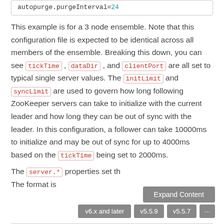[Figure (screenshot): Code snippet box showing: autopurge.purgeInterval=24 with '24' highlighted in teal/cyan color]
This example is for a 3 node ensemble. Note that this configuration file is expected to be identical across all members of the ensemble. Breaking this down, you can see tickTime , dataDir , and clientPort are all set to typical single server values. The initLimit and syncLimit are used to govern how long following ZooKeeper servers can take to initialize with the current leader and how long they can be out of sync with the leader. In this configuration, a follower can take 10000ms to initialize and may be out of sync for up to 4000ms based on the tickTime being set to 2000ms.
The server.* properties set th...
The format is
[Figure (screenshot): UI overlay with 'Expand Content' button and version tabs: v6.x and later, v5.5.9, v5.5.7, ...]